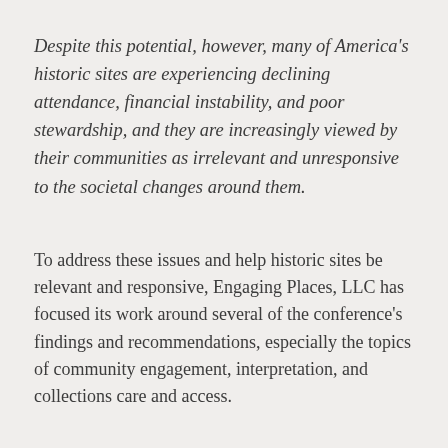Despite this potential, however, many of America's historic sites are experiencing declining attendance, financial instability, and poor stewardship, and they are increasingly viewed by their communities as irrelevant and unresponsive to the societal changes around them.
To address these issues and help historic sites be relevant and responsive, Engaging Places, LLC has focused its work around several of the conference's findings and recommendations, especially the topics of community engagement, interpretation, and collections care and access.